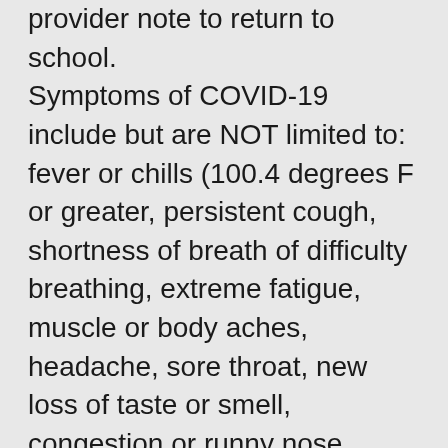provider note to return to school. Symptoms of COVID-19 include but are NOT limited to: fever or chills (100.4 degrees F or greater, persistent cough, shortness of breath of difficulty breathing, extreme fatigue, muscle or body aches, headache, sore throat, new loss of taste or smell, congestion or runny nose, nausea, vomiting, diarrhea, unexplained rash, pinkeye.
Healthcare provider notes must include AT MINIMUM the following information:
1. The individual is cleared to return to school/work.